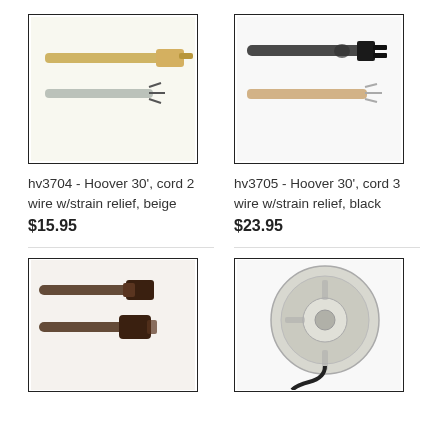[Figure (photo): Hoover 30 foot 2-wire cord with strain relief, beige color, showing plug and wire ends]
[Figure (photo): Hoover 30 foot 3-wire cord with strain relief, black color, showing plug and wire ends]
hv3704 - Hoover 30', cord 2 wire w/strain relief, beige
$15.95
hv3705 - Hoover 30', cord 3 wire w/strain relief, black
$23.95
[Figure (photo): Brown vacuum cord with connector pieces shown separately]
[Figure (photo): Gray cord reel/retractor disc with black cord wound around it]